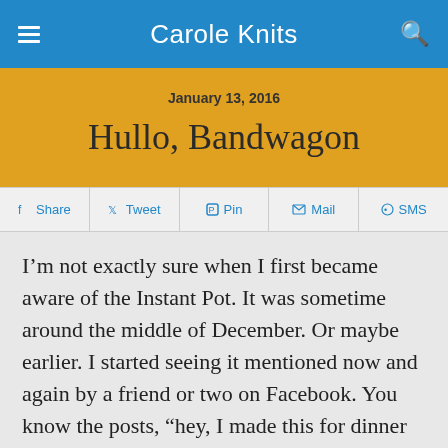Carole Knits
January 13, 2016
Hullo, Bandwagon
Share  Tweet  Pin  Mail  SMS
I’m not exactly sure when I first became aware of the Instant Pot. It was sometime around the middle of December. Or maybe earlier. I started seeing it mentioned now and again by a friend or two on Facebook. You know the posts, “hey, I made this for dinner and it was fantastic.” I paid little attention because a pressure cooker? Me? Nah.